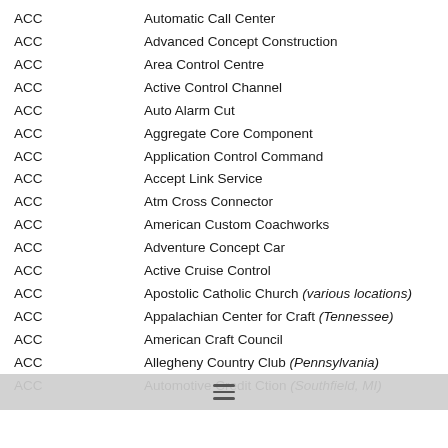ACC   Automatic Call Center
ACC   Advanced Concept Construction
ACC   Area Control Centre
ACC   Active Control Channel
ACC   Auto Alarm Cut
ACC   Aggregate Core Component
ACC   Application Control Command
ACC   Accept Link Service
ACC   Atm Cross Connector
ACC   American Custom Coachworks
ACC   Adventure Concept Car
ACC   Active Cruise Control
ACC   Apostolic Catholic Church (various locations)
ACC   Appalachian Center for Craft (Tennessee)
ACC   American Craft Council
ACC   Allegheny Country Club (Pennsylvania)
ACC   Automotive Credit Corporation (Southfield, MI)